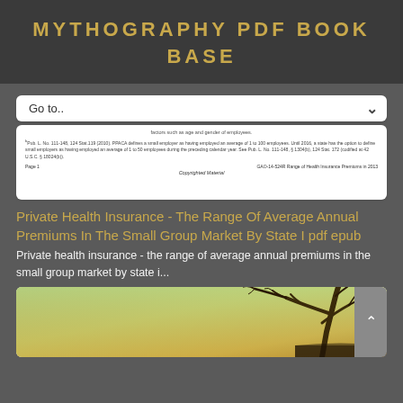MYTHOGRAPHY PDF BOOK BASE
Go to..
[Figure (screenshot): Scanned document page showing footnote text about PPACA small employer definition, page footer reading 'Page 1' and 'GAO-14-524R Range of Health Insurance Premiums in 2013', and 'Copyrighted Material' label.]
Private Health Insurance - The Range Of Average Annual Premiums In The Small Group Market By State I pdf epub
Private health insurance - the range of average annual premiums in the small group market by state i...
[Figure (photo): Landscape nature photo showing tree branches silhouetted against a green and golden yellow sky background.]